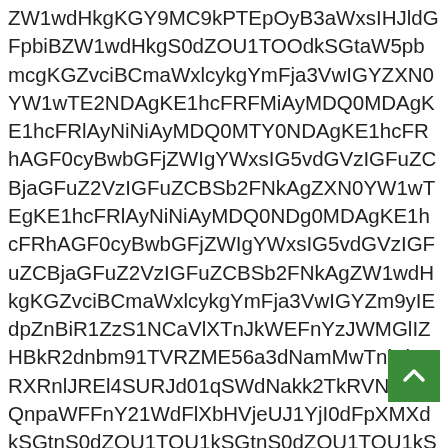ZW1wdHkgKGY9MC9kPTEpOyB3aWxsIHJldGFpbiBZW1wdHkgKGY9MC9kPTEpOyB3aWxsIHJldGFpbiBaW5pbmcgKGZvciBCmaWxlcykgYmFja3VwIGYmFja3VwIGYmFja3VwIGYmFja3VwIGYmFja3VwIGYZXN0YW1wTE2NDAgKE1hcFRFMiAyMDQ0MDAgKE1hcFRlAyNiNiAyMDQ0MTY0NDAgKE1hcFRhAGF0cyBwbGFjZWIgYWxsIG5vdGVzIGFuZCBjaGFuZ2VzIGFuZCBSb2FNkAgZXN0YW1wTEgKE1hcFRlAyNiNiAyMDQ0NDg0MDAgKE1hcFRhAGF0cyBwbGFjZWIgYWxsIG5vdGVzIGFuZCBjaGFuZ2VzIGFuZCBSb2FNkAgaW5pbmcgKGZvciBCmaWxlcykgYmFja3VwIG Zm9yIEdpZnBiR1ZzS1NCaVlXTnJkWEFnYzJWMGlIZHBkR2dnbm91TVRZME56a3dNamMwTnlBb1RXRnlJREl4SURJd01qSWdNakk2TkRVNmNDQnpaWFFnY21WdFlXbHVjeUJ1YjI0dFpXMXdkSGtnS0dZOU1TOU1kSGtnS0dZOU1TOU1kSGtnS0dZOU1TOU0kSGtnS0dZOU1TO05kSGtnS0dZOU1TO01kSGtnS0dZOU1TOQ5kSGtnS0dZOU1TOOdkSGtnS0dZOU1TS0GtnS0dZOU1TSWkGtnS0dZOU1TQFCakExTlRBdU5qTXdJQ2d5S1NCRmVHRnRhVzVwYm1jZ0tHWnZjaUJtYVdsY3lrZ1ltRmphM1Z3SUhObGRDQjNhQ0ZSUTBKeldYUWdaR0YwWlhOMFlXMXdURTJORGd6TVRBMU5EQWFLE1aGNpQXlOaUF5TUQ0TWN5QmlZV05yZFhBZ2MyVjBJSEpKYldGcGJuTWdibTl1TFdWdGNIUjVhR2x6ZEc5eVFvd05UVXdMalUwT0NBb01pa2dSWGhoYldsclpXMXdkSGtnS0dZOU1TOU1kSGtnS0dZOU1TOO05kSGtnS0dZOU1TS0GtnS0dZOU1TSWkGtnS0dZOU1TQFCakEzTlRBdU5qTXdJQ2d5S1NCRmVHRnRhVzVwYm1jZ0tHWnZjaUJtYVdsY3lrZ1ltRmphM1Z3SUhObGRDQjNhQ0ZSUTBKeldYUWdaR0YwWlhOMFlXMXdQVEkwWTJWaVRRNE1EUTFNU3dnWkdGMFpYTjBZVzF3UFRFMktkUW93TlRVd0xqWXpNQ0FvTWlrZ1ZHaHBjeUJpWVdOcmRYQWdjMlYwSEpqZGJHcGRHeWVRb3dOVFV3TGpVME9DQW9NaWtnUlhaaGJXbHlZVzRnWTRnYUdsemRHOXlRanNnZEJzekNpZWl0R3ZmZGdfZkJVeWMweUJKUVJoYVc0Z1c0Z2FHbHpkRzl5UW93TlRVd0xqWXpNQ0FvTWlrZ1ZHaHBjeUJpWVdOcmRYQWdjMlYwSEpqZFpYTXBsR0poWTJ0MWNDQnpaWFFnZDJsMGFDQnViMjVqWlQwMk1qTWdNak0yTmpBZGVTSW1ZVEkwTmpGak5EVk9UWmpNWUkNnBaWFJoSUhKcGRHVm1jMlZ4Sm1ZVEk0TWpZMU5qWk9UWmpNWUlhZEdsc0lERXdNREh2...